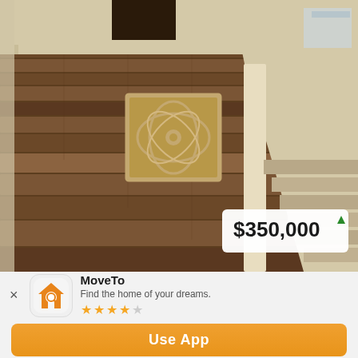[Figure (photo): Interior photo of a home foyer/hallway viewed from above, showing dark walnut wood-plank flooring, a decorative square rug with floral medallion pattern, cream-colored walls and stair railing on the right side, with a price badge showing $350,000 with a green upward arrow overlaid in the bottom-right corner.]
MoveTo
Find the home of your dreams.
★★★★☆
Use App